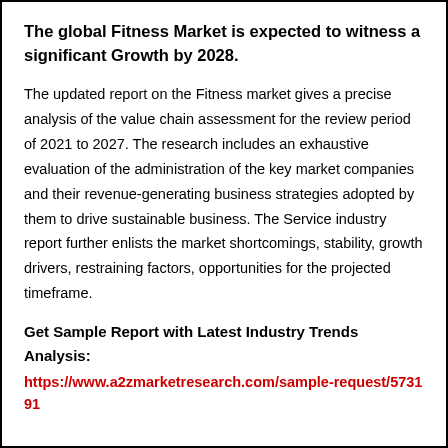The global Fitness Market is expected to witness a significant Growth by 2028.
The updated report on the Fitness market gives a precise analysis of the value chain assessment for the review period of 2021 to 2027. The research includes an exhaustive evaluation of the administration of the key market companies and their revenue-generating business strategies adopted by them to drive sustainable business. The Service industry report further enlists the market shortcomings, stability, growth drivers, restraining factors, opportunities for the projected timeframe.
Get Sample Report with Latest Industry Trends Analysis: https://www.a2zmarketresearch.com/sample-request/573191